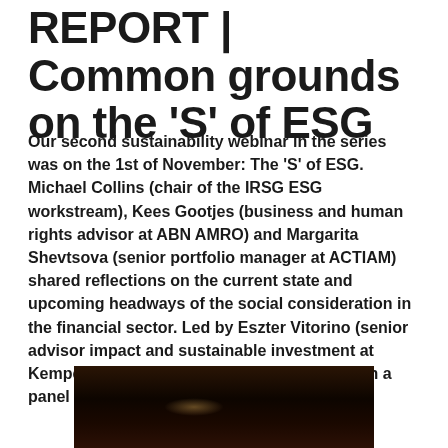REPORT | Common grounds on the 'S' of ESG
Our second sustainability webinar in the series was on the 1st of November: The 'S' of ESG. Michael Collins (chair of the IRSG ESG workstream), Kees Gootjes (business and human rights advisor at ABN AMRO) and Margarita Shevtsova (senior portfolio manager at ACTIAM) shared reflections on the current state and upcoming headways of the social consideration in the financial sector. Led by Eszter Vitorino (senior advisor impact and sustainable investment at Kempen Capital Management) they debated in a panel discussion.
[Figure (photo): Dark photograph showing what appears to be a panel discussion room or conference setting, very low light with only a faint highlight visible.]